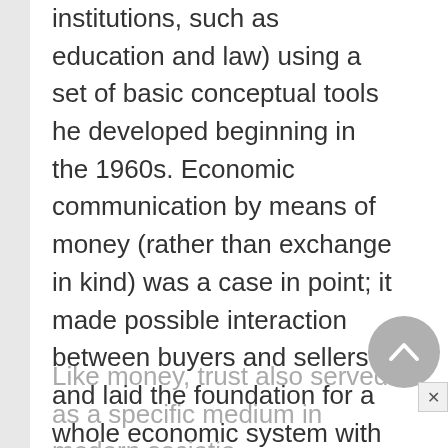institutions, such as education and law) using a set of basic conceptual tools he developed beginning in the 1960s. Economic communication by means of money (rather than exchange in kind) was a case in point; it made possible interaction between buyers and sellers and laid the foundation for a whole economic system with its own specifically economic functions.
Like money, trust also served as a specific medium in modern societies